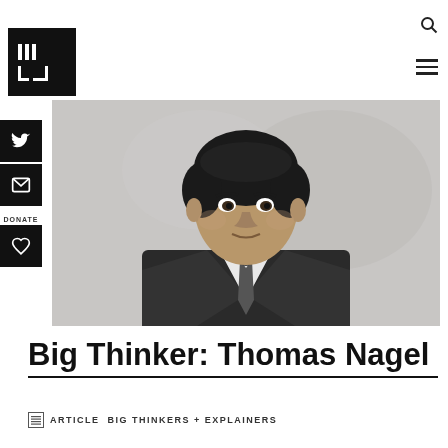[Figure (logo): Institute of Art and Ideas logo — black square with three vertical bars and bracket symbols]
[Figure (photo): Black and white portrait photograph of Thomas Nagel, a man in a suit and tie against a light grey background]
Big Thinker: Thomas Nagel
ARTICLE  BIG THINKERS + EXPLAINERS